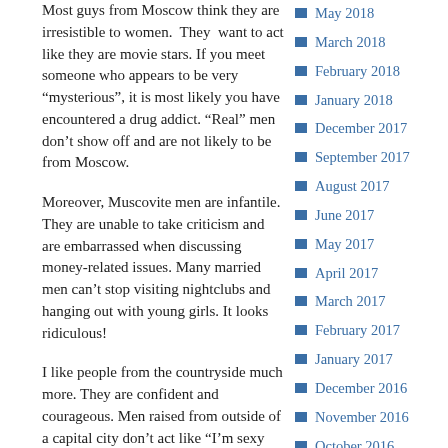Most guys from Moscow think they are irresistible to women.  They  want to act like they are movie stars. If you meet someone who appears to be very “mysterious”, it is most likely you have encountered a drug addict. “Real” men don’t show off and are not likely to be from Moscow.
Moreover, Muscovite men are infantile. They are unable to take criticism and are embarrassed when discussing money-related issues. Many married men can’t stop visiting nightclubs and hanging out with young girls. It looks ridiculous!
I like people from the countryside much more. They are confident and courageous. Men raised from outside of a capital city don’t act like “I’m sexy and I know it”.  It’s a matter of respect.
May 2018
March 2018
February 2018
January 2018
December 2017
September 2017
August 2017
June 2017
May 2017
April 2017
March 2017
February 2017
January 2017
December 2016
November 2016
October 2016
September 2016